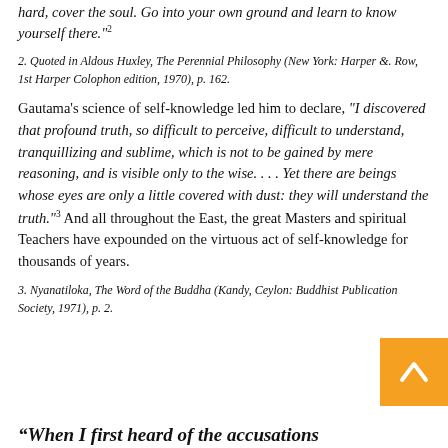hard, cover the soul. Go into your own ground and learn to know yourself there."2
2. Quoted in Aldous Huxley, The Perennial Philosophy (New York: Harper &. Row, 1st Harper Colophon edition, 1970), p. 162.
Gautama's science of self-knowledge led him to declare, "I discovered that profound truth, so difficult to perceive, difficult to understand, tranquillizing and sublime, which is not to be gained by mere reasoning, and is visible only to the wise. . . . Yet there are beings whose eyes are only a little covered with dust: they will understand the truth."3 And all throughout the East, the great Masters and spiritual Teachers have expounded on the virtuous act of self-knowledge for thousands of years.
3. Nyanatiloka, The Word of the Buddha (Kandy, Ceylon: Buddhist Publication Society, 1971), p. 2.
“When I first heard of the accusations